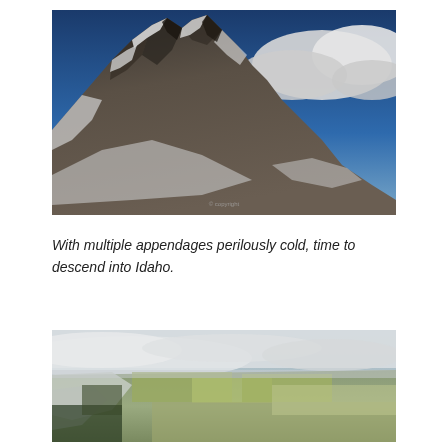[Figure (photo): Snow-dusted rocky mountain peaks with dramatic clouds in a blue sky, viewed from close up. The jagged ridgeline is covered in patches of snow and exposed dark rock.]
With multiple appendages perilously cold, time to descend into Idaho.
[Figure (photo): Aerial view looking down into Idaho valley and plains below, with low clouds and mist over the landscape, snow-covered slopes on the left and golden-brown fields stretching into the distance.]